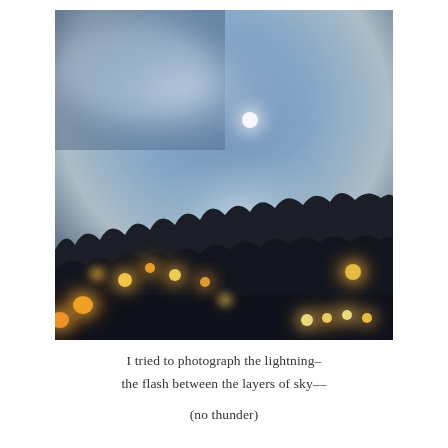[Figure (photo): A blurry night photograph showing a dark treeline silhouette against a twilight sky with glowing bokeh lights in warm orange and yellow tones, a bright spot (moon or lightning glow) in the blue-grey sky, and diffuse light clouds.]
I tried to photograph the lightning–
the flash between the layers of sky—

(no thunder)